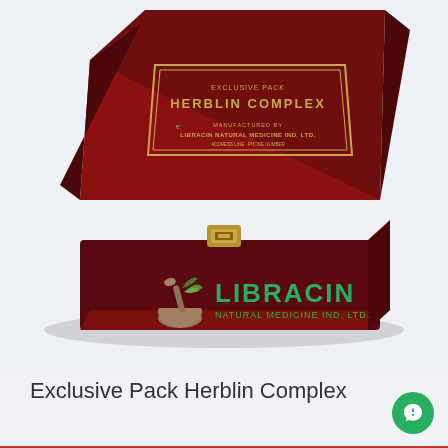[Figure (photo): A dark red wooden box (open lid) with gold label reading 'EXCLUSIVE PACK HERBLIN COMPLEX' and 'LIBRACIN NATURAL MEDICINE IND. LTD.' with a gold clasp in the center, on a light blue-gray background. Below the box is the LIBRACIN Natural Medicine Ind. Ltd. company logo in green.]
Exclusive Pack Herblin Complex